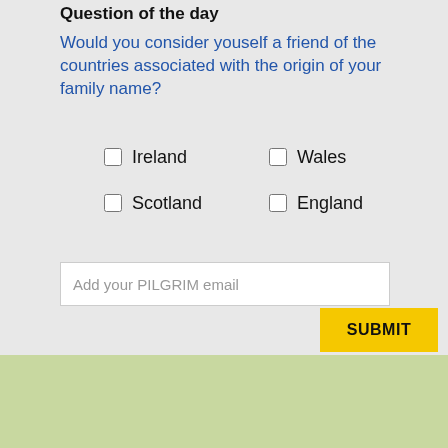Question of the day
Would you consider youself a friend of the countries associated with the origin of your family name?
Ireland
Wales
Scotland
England
Add your PILGRIM email
SUBMIT
Don't forget to share within your family
whatsapp groups
By using our site we assume you are ok with our cookie policy
Ok
Our in-person family gatherings